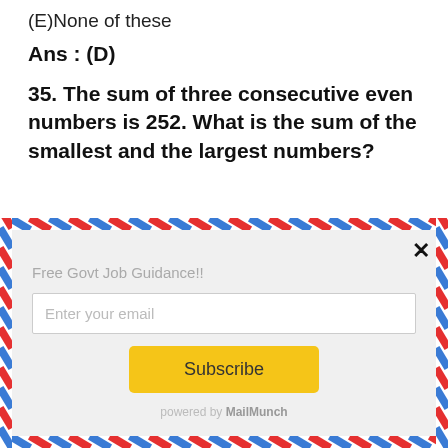(E)None of these
Ans : (D)
35. The sum of three consecutive even numbers is 252. What is the sum of the smallest and the largest numbers?
[Figure (other): Email subscription popup with airmail border, 'Free Govt Job Guidance!!' label, email input field, Subscribe button, and 'powered by MailMunch' footer]